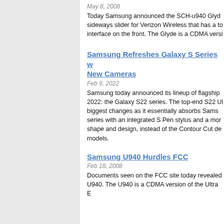May 8, 2008
Today Samsung announced the SCH-u940 Glyde sideways slider for Verizon Wireless that has a touchscreen interface on the front. The Glyde is a CDMA versi...
Samsung Refreshes Galaxy S Series with New Cameras
Feb 9, 2022
Samsung today announced its lineup of flagship phones for 2022: the Galaxy S22 series. The top-end S22 Ultra sees the biggest changes as it essentially absorbs Samsung's Note series with an integrated S Pen stylus and a more rectangular shape and design, instead of the Contour Cut design of previous models.
Samsung U940 Hurdles FCC
Feb 18, 2008
Documents seen on the FCC site today revealed the U940. The U940 is a CDMA version of the Ultra E...
Samsung Refines its Foldable Phones
Aug 10, 2022
Samsung has announced its newest generation of foldable phones: the Galaxy Z Fold4 and Galaxy Z Flip4. Both feature similar designs and features compared to their predecessors with a slew of small updates and refinements ac...